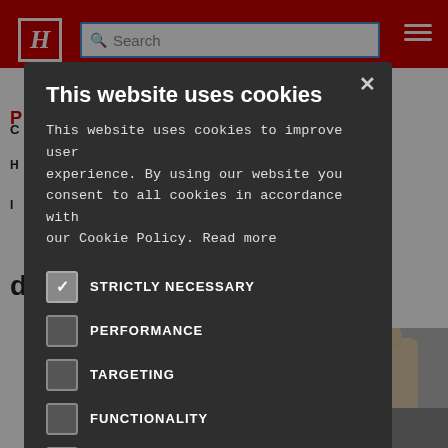[Figure (screenshot): Website screenshot showing a red header bar with H logo, search bar, and hamburger menu. Background shows partial article content. A cookie consent modal dialog overlays the page.]
This website uses cookies
This website uses cookies to improve user experience. By using our website you consent to all cookies in accordance with our Cookie Policy. Read more
STRICTLY NECESSARY (checked)
PERFORMANCE
TARGETING
FUNCTIONALITY
UNCLASSIFIED
ACCEPT ALL
DECLINE ALL
SHOW DETAILS